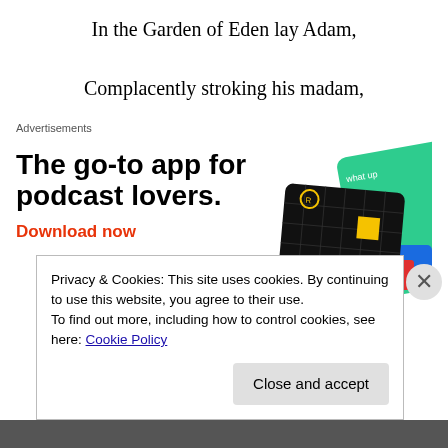In the Garden of Eden lay Adam,
Complacently stroking his madam,
Advertisements
[Figure (illustration): Advertisement for a podcast app. Large bold black text reads 'The go-to app for podcast lovers.' with a red 'Download now' link. Right side shows app card thumbnails including a 99% Invisible podcast card (black with yellow square) and a green card.]
Privacy & Cookies: This site uses cookies. By continuing to use this website, you agree to their use.
To find out more, including how to control cookies, see here: Cookie Policy
Close and accept